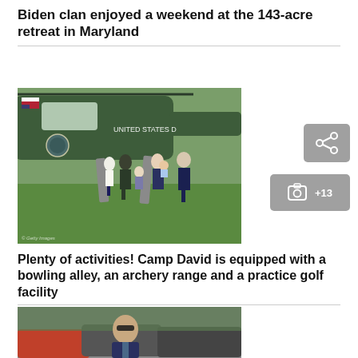Biden clan enjoyed a weekend at the 143-acre retreat in Maryland
[Figure (photo): Biden family members walking down stairs from Marine One helicopter on a grassy lawn, with a US Marine in dress uniform assisting. A man in a suit carries a young child.]
[Figure (infographic): Share button icon (grey rounded rectangle with share/network icon)]
[Figure (infographic): Gallery button showing camera icon and +13 label]
Plenty of activities! Camp David is equipped with a bowling alley, an archery range and a practice golf facility
[Figure (photo): President Biden walking outdoors near vehicles, wearing sunglasses and a blue blazer.]